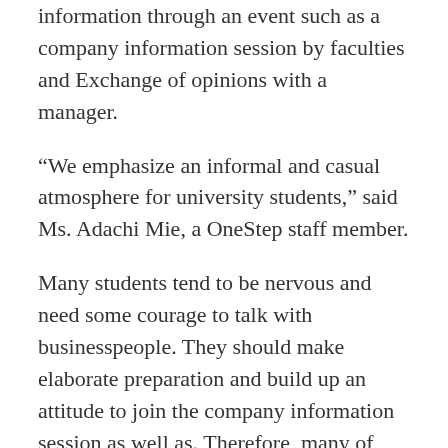information through an event such as a company information session by faculties and Exchange of opinions with a manager.
“We emphasize an informal and casual atmosphere for university students,” said Ms. Adachi Mie, a OneStep staff member.
Many students tend to be nervous and need some courage to talk with businesspeople. They should make elaborate preparation and build up an attitude to join the company information session as well as. Therefore, many of them are passive to look for a job early. To reduce students’ mental burden,